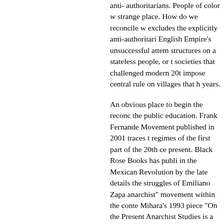anti- authoritarians. People of color w... strange place. How do we reconcile w... excludes the explicitly anti-authoritari... English Empire's unsuccessful attem... structures on a stateless people, or t... societies that challenged modern 20t... impose central rule on villages that h... years.
An obvious place to begin the reconc... the public education. Frank Fernande... Movement published in 2001 traces t... regimes of the first part of the 20th ce... present. Black Rose Books has publi... in the Mexican Revolution by the late... details the struggles of Emiliano Zapa... anarchist" movement within the conte... Mihara's 1993 piece "On the Present... Anarchist Studies is a great review o... been a hub of anti-authoritarian activ... I.E. Igariwey's African Anarchism: Th... the real roots of stateless society wit... out of primitivist anthropology these d...
A large part of building the movemen... communities of color will be reconstru...